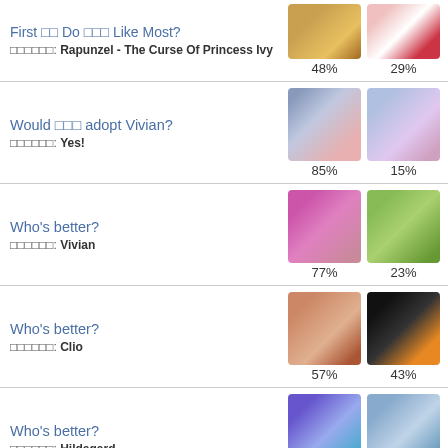First ▯▯ Do ▯▯▯ Like Most? ▯▯▯▯▯▯: Rapunzel - The Curse Of Princess Ivy | 48% / 29%
Would ▯▯▯ adopt Vivian? ▯▯▯▯▯▯: Yes! | 85% / 15%
Who's better? ▯▯▯▯▯▯: Vivian | 77% / 23%
Who's better? ▯▯▯▯▯▯: Clio | 57% / 43%
Who's better? ▯▯▯▯▯▯: Hildegard | 57% / 43%